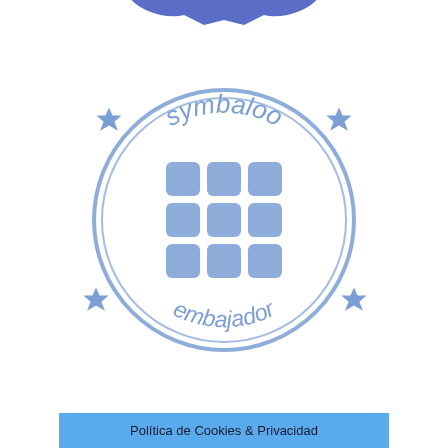[Figure (logo): Symbaloo embajador stamp logo in blue, showing a circular seal with 'symbaloo' text arched at top, 'embajador' text arched at bottom, a 3x3 grid of rounded squares in the center circle, four six-pointed stars around the circle, and a partially visible blue badge shape at the very top with mirrored text 'ENTIALLY AMB']
Política de Cookies & Privacidad